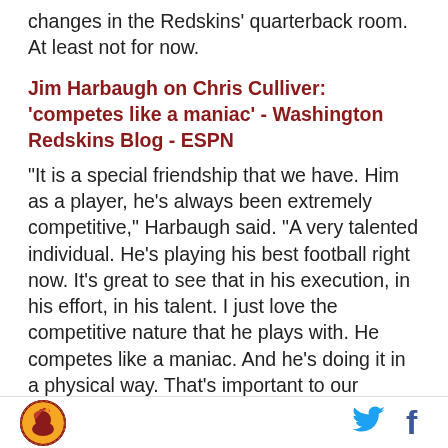changes in the Redskins' quarterback room. At least not for now.
Jim Harbaugh on Chris Culliver: 'competes like a maniac' - Washington Redskins Blog - ESPN
"It is a special friendship that we have. Him as a player, he's always been extremely competitive," Harbaugh said. "A very talented individual. He's playing his best football right now. It's great to see that in his execution, in his effort, in his talent. I just love the competitive nature that he plays with. He competes like a maniac. And he's doing it in a physical way. That's important to our football team -- to be physical. And to do that from the corner position is really good. You're playing with 11 tacklers out there when your corners are physical
[Figure (logo): Washington Redskins circular logo with Native American profile in gold and red]
[Figure (logo): Twitter bird icon in blue]
[Figure (logo): Facebook f icon in dark blue]